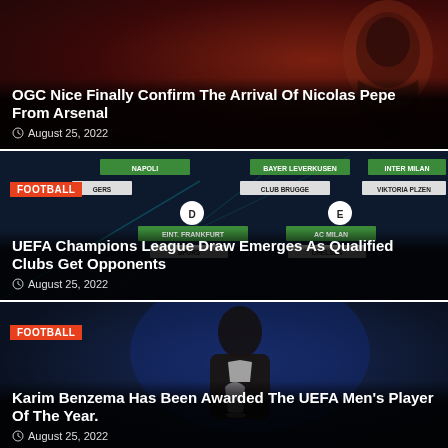[Figure (photo): OGC Nice Nicolas Pepe article card with dark red background showing a person smiling]
OGC Nice Finally Confirm The Arrival Of Nicolas Pepe From Arsenal
August 25, 2022
[Figure (photo): UEFA Champions League draw bracket diagram showing groups with teams: Napoli, Bayer Leverkusen, Inter Milan, Rangers, Club Brugge, Viktoria Plzen, Eint. Frankfurt, AC Milan, Spurs, Chelsea, Sporting Club, Salzburg, Marseille, Dinamo Zagreb with group letters D and E visible]
UEFA Champions League Draw Emerges As Qualified Clubs Get Opponents
August 25, 2022
[Figure (photo): Karim Benzema holding UEFA award trophy, wearing dark suit, blue background]
Karim Benzema Has Been Awarded The UEFA Men's Player Of The Year.
August 25, 2022